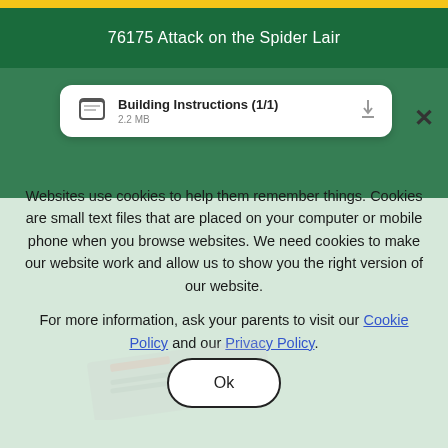76175 Attack on the Spider Lair
Building Instructions (1/1)
Websites use cookies to help them remember things. Cookies are small text files that are placed on your computer or mobile phone when you browse websites. We need cookies to make our website work and allow us to show you the right version of our website.

For more information, ask your parents to visit our Cookie Policy and our Privacy Policy.
Ok